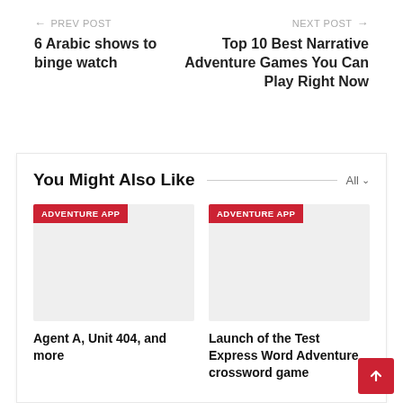← PREV POST
6 Arabic shows to binge watch
NEXT POST →
Top 10 Best Narrative Adventure Games You Can Play Right Now
You Might Also Like
[Figure (other): Card image placeholder with ADVENTURE APP badge]
Agent A, Unit 404, and more
[Figure (other): Card image placeholder with ADVENTURE APP badge]
Launch of the Test Express Word Adventure crossword game